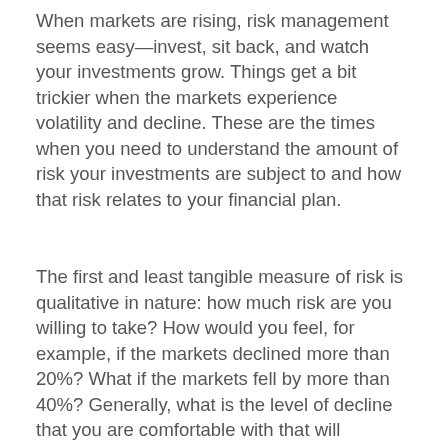When markets are rising, risk management seems easy—invest, sit back, and watch your investments grow. Things get a bit trickier when the markets experience volatility and decline. These are the times when you need to understand the amount of risk your investments are subject to and how that risk relates to your financial plan.
The first and least tangible measure of risk is qualitative in nature: how much risk are you willing to take? How would you feel, for example, if the markets declined more than 20%? What if the markets fell by more than 40%? Generally, what is the level of decline that you are comfortable with that will